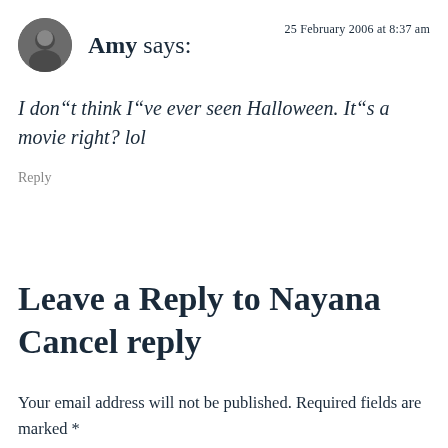[Figure (photo): Circular avatar photo of a person]
Amy says:
25 February 2006 at 8:37 am
I don“t think I“ve ever seen Halloween. It“s a movie right? lol
Reply
Leave a Reply to Nayana Cancel reply
Your email address will not be published. Required fields are marked *